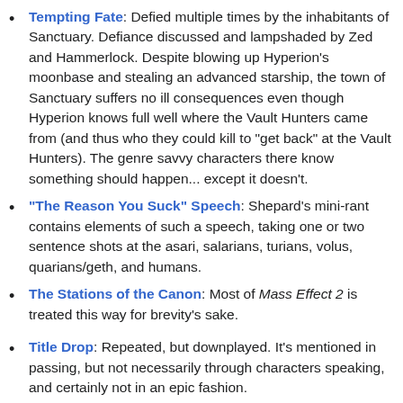Tempting Fate: Defied multiple times by the inhabitants of Sanctuary. Defiance discussed and lampshaded by Zed and Hammerlock. Despite blowing up Hyperion's moonbase and stealing an advanced starship, the town of Sanctuary suffers no ill consequences even though Hyperion knows full well where the Vault Hunters came from (and thus who they could kill to "get back" at the Vault Hunters). The genre savvy characters there know something should happen... except it doesn't.
"The Reason You Suck" Speech: Shepard's mini-rant contains elements of such a speech, taking one or two sentence shots at the asari, salarians, turians, volus, quarians/geth, and humans.
The Stations of the Canon: Most of Mass Effect 2 is treated this way for brevity's sake.
Title Drop: Repeated, but downplayed. It's mentioned in passing, but not necessarily through characters speaking, and certainly not in an epic fashion.